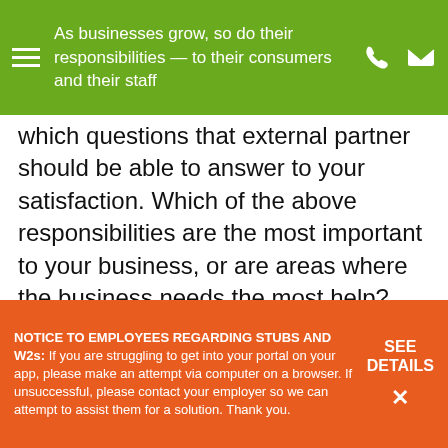As businesses grow, so do their responsibilities — to their consumers and their staff
which questions that external partner should be able to answer to your satisfaction. Which of the above responsibilities are the most important to your business, or are areas where the business needs the most help? While there are different versions of outsourced HR — from simple software brands to providers that are more involved on a personal level — which is best for you?
If the past year has highlighted any need in
NOTICE TO EMPLOYEES REGARDING STUBS AND W2s: If you are struggling to get into your portal on your app, please make an attempt via computer on a browser. If unsuccessful, please contact your employer so we can attempt to assist them for a solution. Thank you.